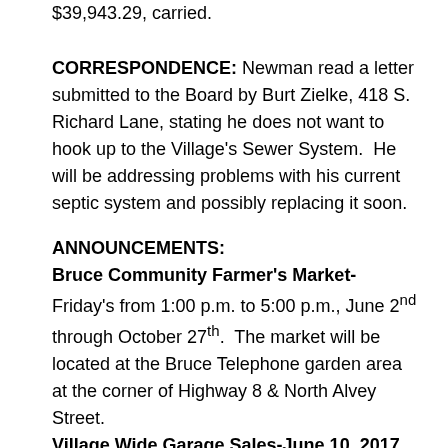$39,943.29, carried.
CORRESPONDENCE: Newman read a letter submitted to the Board by Burt Zielke, 418 S. Richard Lane, stating he does not want to hook up to the Village's Sewer System.  He will be addressing problems with his current septic system and possibly replacing it soon.
ANNOUNCEMENTS:
Bruce Community Farmer's Market-Friday's from 1:00 p.m. to 5:00 p.m., June 2nd through October 27th.  The market will be located at the Bruce Telephone garden area at the corner of Highway 8 & North Alvey Street.
Village Wide Garage Sales-June 10, 2017. Maps will be available at the Village Hall and businesses in Bruce.  Please contact the Village Hall for more details.
Rusk County Clean Sweep-Saturday, June 17, 2017, from 8 am to 1 pm, at the Rusk County Highway Department Shop.